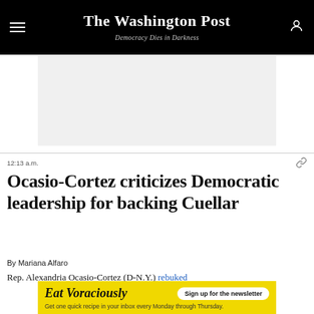The Washington Post — Democracy Dies in Darkness
[Figure (other): Advertisement placeholder rectangle, light gray background]
12:13 a.m.
Ocasio-Cortez criticizes Democratic leadership for backing Cuellar
By Mariana Alfaro
Rep. Alexandria Ocasio-Cortez (D-N.Y.) rebuked
[Figure (other): Banner advertisement: Eat Voraciously — Sign up for the newsletter. Get one quick recipe in your inbox every Monday through Thursday.]